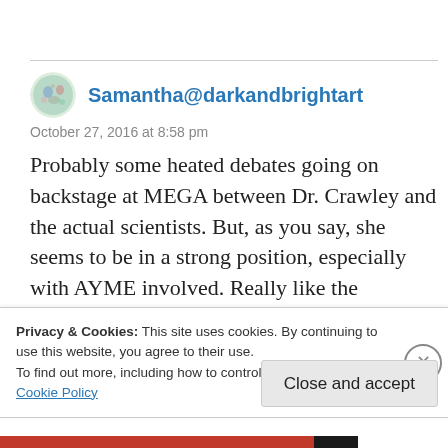Samantha@darkandbrightart
October 27, 2016 at 8:58 pm
Probably some heated debates going on backstage at MEGA between Dr. Crawley and the actual scientists. But, as you say, she seems to be in a strong position, especially with AYME involved. Really like the comments from Steve
Privacy & Cookies: This site uses cookies. By continuing to use this website, you agree to their use.
To find out more, including how to control cookies, see here:
Cookie Policy
Close and accept